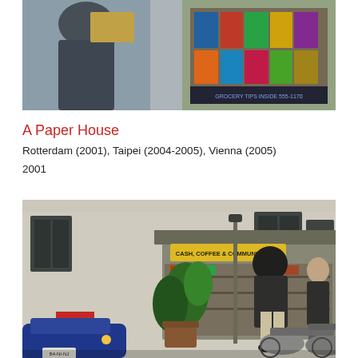[Figure (photo): Top portion of a photo showing a person in a dark jacket near a newsstand or display rack with colorful magazines/papers, partially cropped at top of page.]
A Paper House
Rotterdam (2001), Taipei (2004-2005), Vienna (2005)
2001
[Figure (photo): Street photograph showing a small outdoor kiosk/stand labeled 'CASH, COFFEE & COMMUNICATION' with plants, a blue car on the left, a motorcyclist in a black leather jacket and helmet, and a woman in a leather jacket standing next to a parked motorcycle. A classic European building facade is visible in the background.]